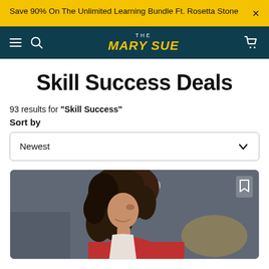Save 90% On The Unlimited Learning Bundle Ft. Rosetta Stone
[Figure (screenshot): The Mary Sue website navigation bar with dark teal background, hamburger menu, search icon, THE MARY SUE logo in yellow italic text, and cart icon]
Skill Success Deals
93 results for "Skill Success"
Sort by
Newest
[Figure (photo): Woman with curly brown hair smiling, looking downward, wearing a red apron, with flowers and blurred industrial/retail background]